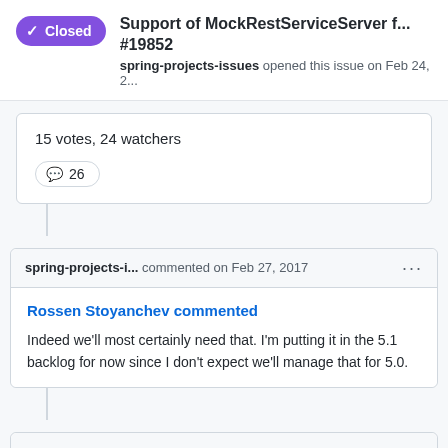Closed · Support of MockRestServiceServer f... #19852 · spring-projects-issues opened this issue on Feb 24, 2...
15 votes, 24 watchers
26
spring-projects-i... commented on Feb 27, 2017
Rossen Stoyanchev commented
Indeed we'll most certainly need that. I'm putting it in the 5.1 backlog for now since I don't expect we'll manage that for 5.0.
spring-projects-i... commented on Nov 1, 2017
Rossen Stoyanchev commented